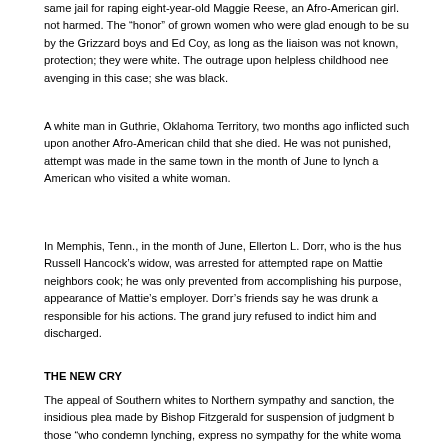same jail for raping eight-year-old Maggie Reese, an Afro-American girl. not harmed. The “honor” of grown women who were glad enough to be su by the Grizzard boys and Ed Coy, as long as the liaison was not known, protection; they were white. The outrage upon helpless childhood nee avenging in this case; she was black.
A white man in Guthrie, Oklahoma Territory, two months ago inflicted such upon another Afro-American child that she died. He was not punished, attempt was made in the same town in the month of June to lynch a American who visited a white woman.
In Memphis, Tenn., in the month of June, Ellerton L. Dorr, who is the hus Russell Hancock’s widow, was arrested for attempted rape on Mattie neighbors cook; he was only prevented from accomplishing his purpose, appearance of Mattie’s employer. Dorr’s friends say he was drunk a responsible for his actions. The grand jury refused to indict him and discharged.
THE NEW CRY
The appeal of Southern whites to Northern sympathy and sanction, the insidious plea made by Bishop Fitzgerald for suspension of judgment b those “who condemn lynching, express no sympathy for the white woma